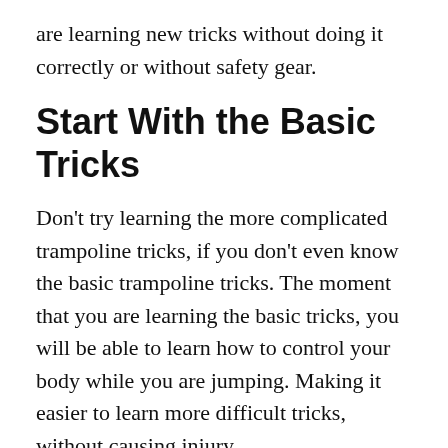are learning new tricks without doing it correctly or without safety gear.
Start With the Basic Tricks
Don't try learning the more complicated trampoline tricks, if you don't even know the basic trampoline tricks. The moment that you are learning the basic tricks, you will be able to learn how to control your body while you are jumping. Making it easier to learn more difficult tricks, without causing injury.